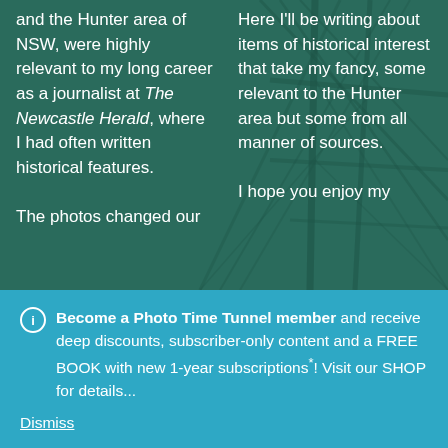[Figure (photo): Background photo of ship mast and rigging with teal/dark green color overlay, partially visible behind two-column text]
and the Hunter area of NSW, were highly relevant to my long career as a journalist at The Newcastle Herald, where I had often written historical features.

The photos changed our
Here I'll be writing about items of historical interest that take my fancy, some relevant to the Hunter area but some from all manner of sources.

I hope you enjoy my
Become a Photo Time Tunnel member and receive deep discounts, subscriber-only content and a FREE BOOK with new 1-year subscriptions*! Visit our SHOP for details...
Dismiss